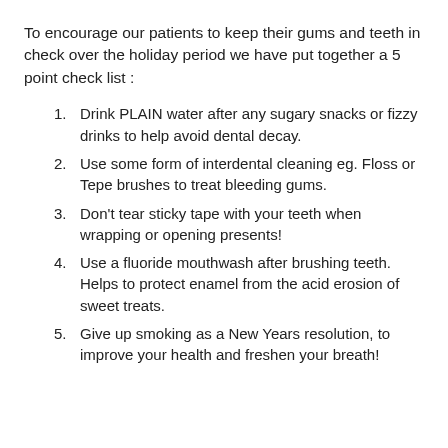To encourage our patients to keep their gums and teeth in check over the holiday period we have put together a 5 point check list :
Drink PLAIN water after any sugary snacks or fizzy drinks to help avoid dental decay.
Use some form of interdental cleaning eg. Floss or Tepe brushes to treat bleeding gums.
Don't tear sticky tape with your teeth when wrapping or opening presents!
Use a fluoride mouthwash after brushing teeth. Helps to protect enamel from the acid erosion of sweet treats.
Give up smoking as a New Years resolution, to improve your health and freshen your breath!